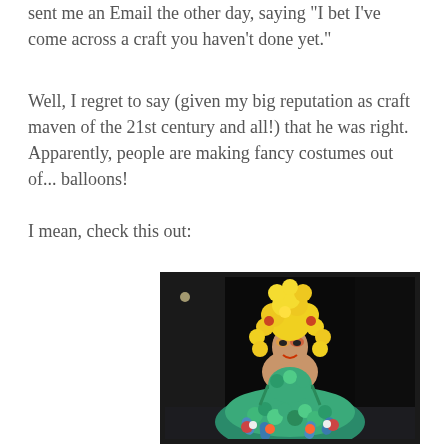sent me an Email the other day, saying "I bet I've come across a craft you haven't done yet."
Well, I regret to say (given my big reputation as craft maven of the 21st century and all!) that he was right. Apparently, people are making fancy costumes out of... balloons!
I mean, check this out:
[Figure (photo): A person wearing an elaborate costume made entirely of balloons, including a large yellow balloon headdress/hair, a teal/blue/green balloon dress, and colorful face paint, photographed against a dark background.]